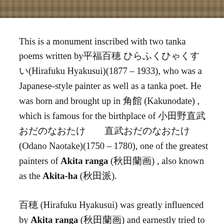[Figure (photo): Top strip of a photograph showing an outdoor scene, partially visible at the top of the page.]
This is a monument inscribed with two tanka poems written by平福百穂 ひらふくひゃくすい(Hirafuku Hyakusui)(1877 – 1933), who was a Japanese-style painter as well as a tanka poet. He was born and brought up in 角館 (Kakunodate) , which is famous for the birthplace of 小田野直武 おだのなおたけ　　直武おだのなおたけ(Odano Naotake)(1750 – 1780), one of the greatest painters of Akita ranga (秋田蘭画) , also known as the Akita-ha (秋田派).
百穂 (Hirafuku Hyakusui) was greatly influenced by Akita ranga (秋田蘭画) and earnestly tried to introduce and spread its style, in which the Akita painters for the most part painted traditional Japanese themes and